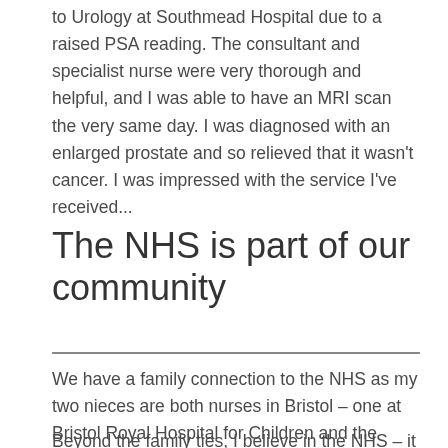to Urology at Southmead Hospital due to a raised PSA reading. The consultant and specialist nurse were very thorough and helpful, and I was able to have an MRI scan the very same day. I was diagnosed with an enlarged prostate and so relieved that it wasn't cancer. I was impressed with the service I've received...
The NHS is part of our community
We have a family connection to the NHS as my two nieces are both nurses in Bristol – one at Bristol Royal Hospital for Children and the other at Callington Road Hospital. My sister also works in domestic services at Southmead Hospital.
Beyond the family ties, I believe in the NHS – it really is